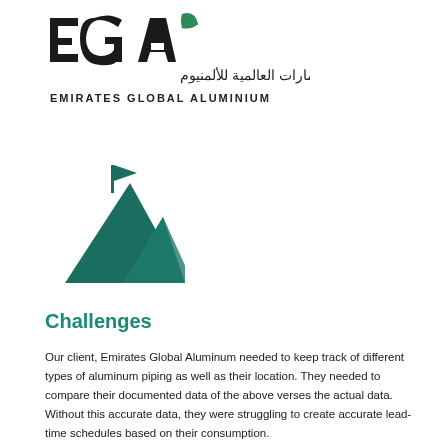[Figure (logo): EGA (Emirates Global Aluminium) logo with green leaf mark, Arabic text 'الإمارات العالمية للألمنيوم', and English text 'EMIRATES GLOBAL ALUMINIUM']
[Figure (illustration): Teal/dark green mountain icon with a flag on top, stylized with two overlapping mountain peaks]
Challenges
Our client, Emirates Global Aluminum needed to keep track of different types of aluminum piping as well as their location. They needed to compare their documented data of the above verses the actual data. Without this accurate data, they were struggling to create accurate lead-time schedules based on their consumption.